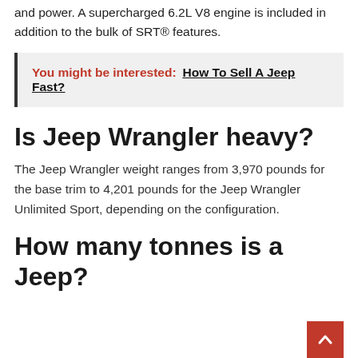and power. A supercharged 6.2L V8 engine is included in addition to the bulk of SRT® features.
You might be interested:  How To Sell A Jeep Fast?
Is Jeep Wrangler heavy?
The Jeep Wrangler weight ranges from 3,970 pounds for the base trim to 4,201 pounds for the Jeep Wrangler Unlimited Sport, depending on the configuration.
How many tonnes is a Jeep?